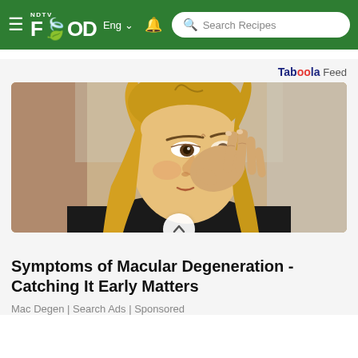NDTV FOOD Eng | Search Recipes
Taboola Feed
[Figure (photo): A blonde woman rubbing or touching her eye with her fingers, appearing to have eye discomfort, wearing a dark top, outdoor background]
Symptoms of Macular Degeneration - Catching It Early Matters
Mac Degen | Search Ads | Sponsored